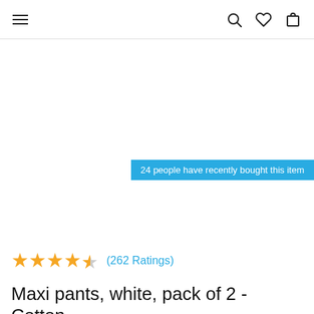≡  🔍 ♡ 🛍
24 people have recently bought this item
★★★★★ (262 Ratings)
Maxi pants, white, pack of 2 - Cotton Essentials